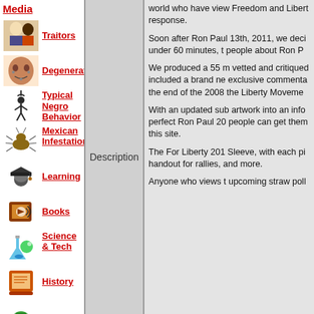Media
Traitors
Degenerates
Typical Negro Behavior
Mexican Infestation
Learning
Books
Science & Tech
History
Description
world who have viewed Freedom and Liberty response. Soon after Ron Paul 13th, 2011, we decided under 60 minutes, to people about Ron P We produced a 55 m vetted and critiqued included a brand ne exclusive commenta the end of the 2008 the Liberty Moveme With an updated sub artwork into an info perfect Ron Paul 20 people can get them this site. The For Liberty 201 Sleeve, with each pi handout for rallies, and more. Anyone who views t upcoming straw poll